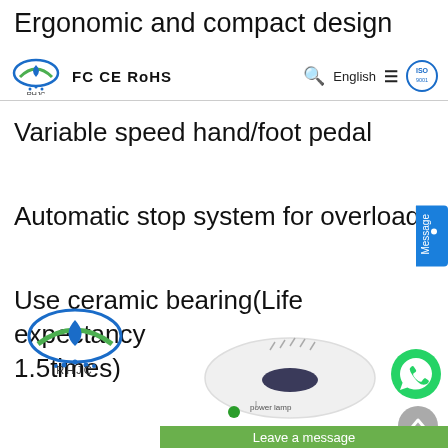Ergonomic and compact design
[Figure (logo): RHJC company logo with FCC CE RoHS certification badges, search icon, English language selector, menu icon, ISO badge — website navigation header]
Variable speed hand/foot pedal
Automatic stop system for overload
Use ceramic bearing(Life expectancy 1.5times)
[Figure (logo): RHJC company logo bottom — swoosh with fish motif, dotted circle, RHJC text]
[Figure (photo): Product image — white oval device with ventilation slits, power lamp label with green dot indicator, green 'Leave a message' bar at bottom]